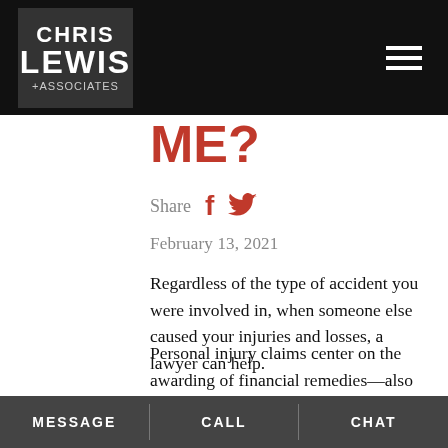CHRIS LEWIS + ASSOCIATES
ME?
Share
February 13, 2021
Regardless of the type of accident you were involved in, when someone else caused your injuries and losses, a lawyer can help.
Personal injury claims center on the awarding of financial remedies—also called damages—to people who have suffered losses due to the negligence of another.
MESSAGE   CALL   CHAT